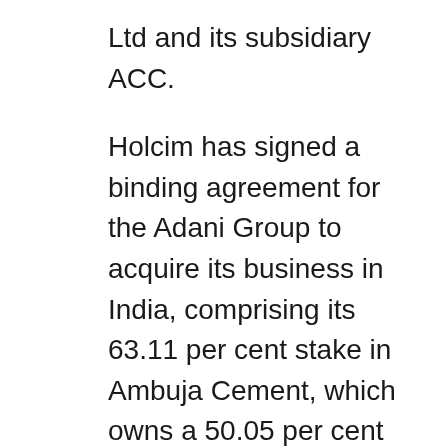Ltd and its subsidiary ACC.
Holcim has signed a binding agreement for the Adani Group to acquire its business in India, comprising its 63.11 per cent stake in Ambuja Cement, which owns a 50.05 per cent interest in ACC, as well as its 4.48 per cent direct stake in ACC. The corresponding offer share prices of Rs 385 for Ambuja Cement and Rs 2,300 for ACC translate into cash proceeds of 6.4 billion Swiss Franc (CHF) for Holcim.
"With Holcim's global leadership in sustainability, we are acquiring some of